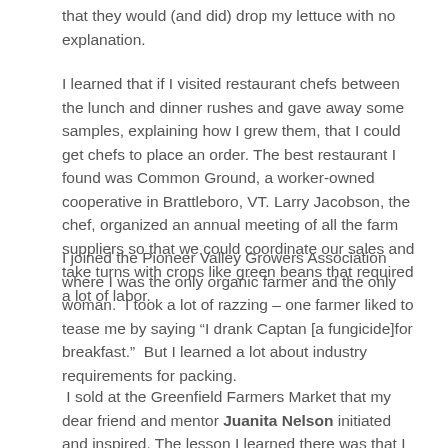that they would (and did) drop my lettuce with no explanation.
I learned that if I visited restaurant chefs between the lunch and dinner rushes and gave away some samples, explaining how I grew them, that I could get chefs to place an order. The best restaurant I found was Common Ground, a worker-owned cooperative in Brattleboro, VT. Larry Jacobson, the chef, organized an annual meeting of all the farm suppliers so that we could coordinate our sales and take turns with crops like green beans that required a lot of labor.
I joined the Pioneer Valley Growers Association where I was the only organic farmer and the only woman.  I took a lot of razzing – one farmer liked to tease me by saying “I drank Captan [a fungicide]for breakfast.”  But I learned a lot about industry requirements for packing.
I sold at the Greenfield Farmers Market that my dear friend and mentor Juanita Nelson initiated and inspired. The lesson I learned there was that I should market as much as possible of